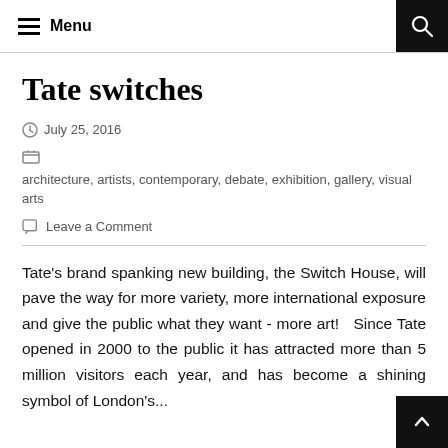Menu
Tate switches
July 25, 2016
architecture, artists, contemporary, debate, exhibition, gallery, visual arts
Leave a Comment
Tate's brand spanking new building, the Switch House, will pave the way for more variety, more international exposure and give the public what they want - more art!   Since Tate opened in 2000 to the public it has attracted more than 5 million visitors each year, and has become a shining symbol of London's...